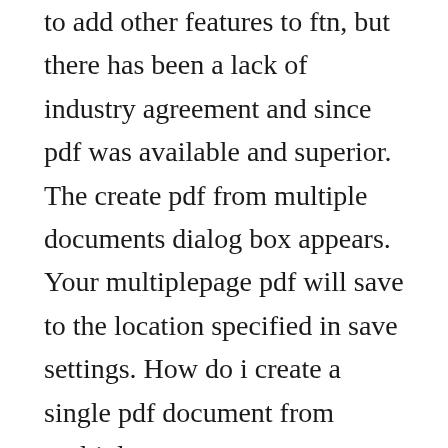to add other features to ftn, but there has been a lack of industry agreement and since pdf was available and superior. The create pdf from multiple documents dialog box appears. Your multiplepage pdf will save to the location specified in save settings. How do i create a single pdf document from multiple.
Microsoft pitch that i scan multiple pages into a single pdf with office365 but i cant find this ms virtual assistant does not know either some help. Single page provides faster processing in certain situations. Generate multipage pdf using single canvas of html. How to print r